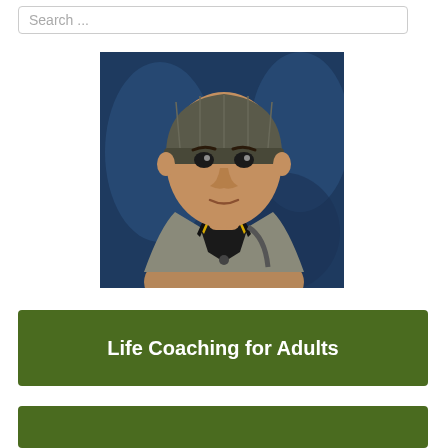Search ...
[Figure (illustration): Digital illustration / cartoon portrait of a young man wearing a dark grey beanie hat and a grey and yellow varsity jacket, with a blue brushstroke background]
Life Coaching for Adults